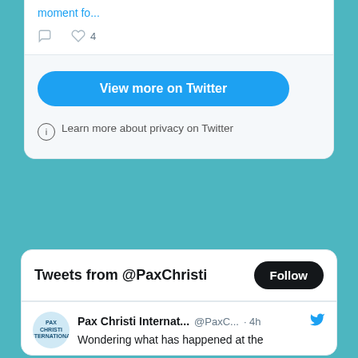moment fo...
[Figure (screenshot): Twitter widget showing partial tweet with comment and like icons (like count: 4)]
View more on Twitter
Learn more about privacy on Twitter
Tweets from @PaxChristi
Follow
Pax Christi Internat... @PaxC... · 4h
Wondering what has happened at the